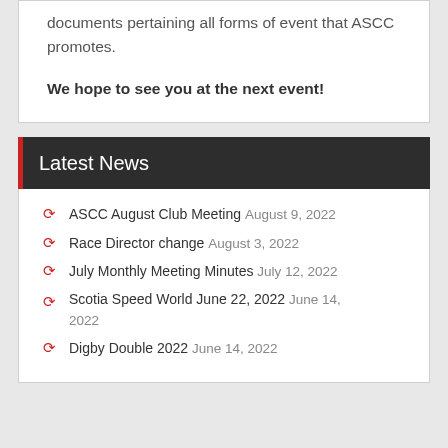documents pertaining all forms of event that ASCC promotes.
We hope to see you at the next event!
Latest News
ASCC August Club Meeting August 9, 2022
Race Director change August 3, 2022
July Monthly Meeting Minutes July 12, 2022
Scotia Speed World June 22, 2022 June 14, 2022
Digby Double 2022 June 14, 2022